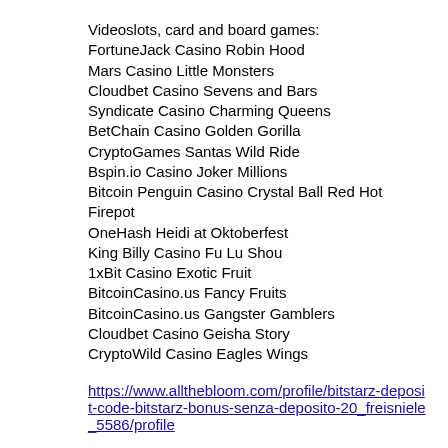Videoslots, card and board games:
FortuneJack Casino Robin Hood
Mars Casino Little Monsters
Cloudbet Casino Sevens and Bars
Syndicate Casino Charming Queens
BetChain Casino Golden Gorilla
CryptoGames Santas Wild Ride
Bspin.io Casino Joker Millions
Bitcoin Penguin Casino Crystal Ball Red Hot Firepot
OneHash Heidi at Oktoberfest
King Billy Casino Fu Lu Shou
1xBit Casino Exotic Fruit
BitcoinCasino.us Fancy Fruits
BitcoinCasino.us Gangster Gamblers
Cloudbet Casino Geisha Story
CryptoWild Casino Eagles Wings
https://www.allthebloom.com/profile/bitstarz-deposit-code-bitstarz-bonus-senza-deposito-20_freisniele_5586/profile